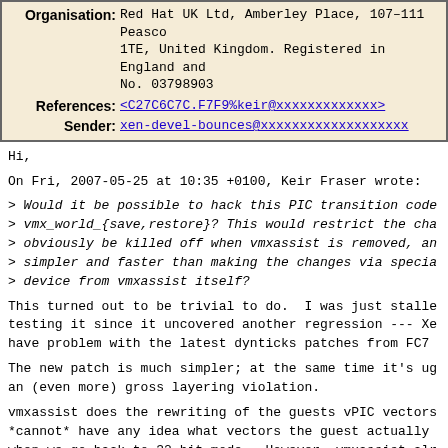| Organisation: | Red Hat UK Ltd, Amberley Place, 107-111 Peascod Street, Windsor, Berkshire, SL4 1TE, United Kingdom. Registered in England and Wales under Company No. 03798903 |
| References: | <C27C6C7C.F7F9%keir@xxxxxxxxxxxxx> |
| Sender: | xen-devel-bounces@xxxxxxxxxxxxxxxxxxx |
Hi,
On Fri, 2007-05-25 at 10:35 +0100, Keir Fraser wrote:
> Would it be possible to hack this PIC transition code so it's called from vmx_world_{save,restore}? This would restrict the changes and it would obviously be killed off when vmxassist is removed, and it might be simpler and faster than making the changes via special VMCALL to a virtual device from vmxassist itself?
This turned out to be trivial to do.  I was just stalled from testing it since it uncovered another regression --- Xen seems to have problem with the latest dynticks patches from FC7
The new patch is much simpler; at the same time it's ugly, being an (even more) gross layering violation.
vmxassist does the rewriting of the guests vPIC vectors and Xen *cannot* have any idea what vectors the guest actually programmed when we go back to 32-bit mode.  However, vmxassist already saves the vectors in several places: the 16-bit irq_bases are hard-coded to 0x08 and 0x70 in the trap bouncing code, and those boundaries are hard-coded to live at 0x20 and 0x28.  If we are willing to accept hard-coding into the hypervisor (but JUST the existing